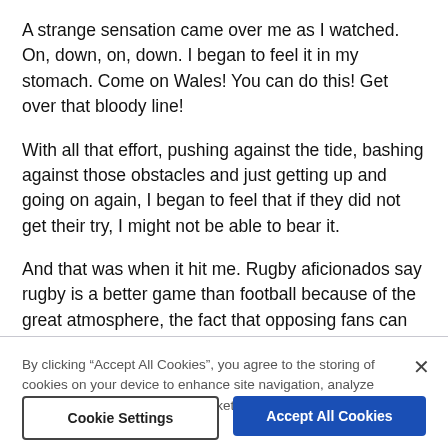A strange sensation came over me as I watched. On, down, on, down. I began to feel it in my stomach. Come on Wales! You can do this! Get over that bloody line!
With all that effort, pushing against the tide, bashing against those obstacles and just getting up and going on again, I began to feel that if they did not get their try, I might not be able to bear it.
And that was when it hit me. Rugby aficionados say rugby is a better game than football because of the great atmosphere, the fact that opposing fans can sit side by side, there's always a handshake at the end, whatever has gone on...
By clicking “Accept All Cookies”, you agree to the storing of cookies on your device to enhance site navigation, analyze site usage, and assist in our marketing efforts.